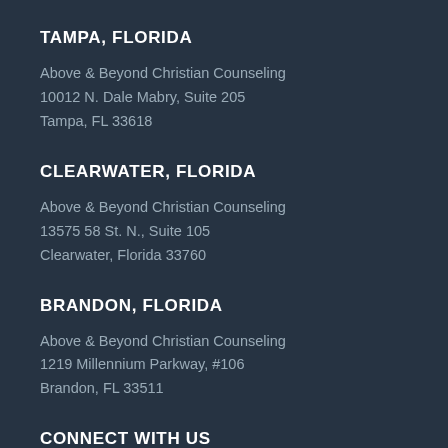TAMPA, FLORIDA
Above & Beyond Christian Counseling
10012 N. Dale Mabry, Suite 205
Tampa, FL 33618
CLEARWATER, FLORIDA
Above & Beyond Christian Counseling
13575 58 St. N., Suite 105
Clearwater, Florida 33760
BRANDON, FLORIDA
Above & Beyond Christian Counseling
1219 Millennium Parkway, #106
Brandon, FL 33511
CONNECT WITH US